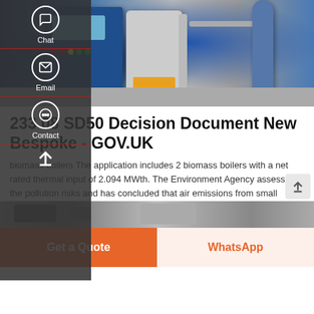[Figure (photo): Industrial biomass boiler machinery with blue control cabinet and pipes in a factory setting]
233 08 SD50 Decision Document New Bespoke - GOV.UK
biomass boilers The application includes 2 biomass boilers with a net rated thermal input of 2.094 MWth. The Environment Agency assessed the pollution risks and has concluded that air emissions from small biomass boilers are not likely to pose a significant risk to the environment or human health providing certain conditions are met.
[Figure (screenshot): Get A Quote teal button]
[Figure (photo): Bottom strip of industrial machinery image]
Get a Quote
WhatsApp